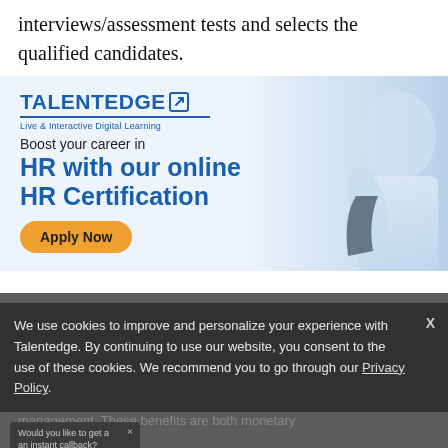interviews/assessment tests and selects the qualified candidates.
[Figure (infographic): TalentEdge advertisement banner for online HR Certification course. Shows TalentEdge logo with 'Live & Interactive Digital Learning' tagline, text 'Boost your career in HR with our online HR Certification', an orange 'Apply Now' button, and a background photo of a person in business attire.]
We use cookies to improve and personalize your experience with Talentedge. By continuing to use our website, you consent to the use of these cookies. We recommend you to go through our Privacy Policy.
Hi There... ×
Would you like to get a call from our counsellor an instant callback?
These benefits include various incentives, salaries, incentives, perks and payroll management. These benefits are both monetary